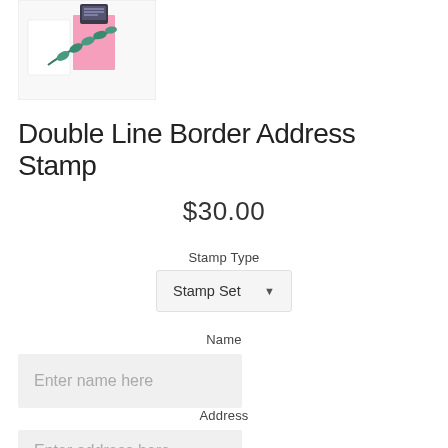[Figure (photo): Product photo showing a rubber stamp, pink cards, and eucalyptus leaves on white background]
Double Line Border Address Stamp
$30.00
Stamp Type
Stamp Set
Name
Enter name here
Address